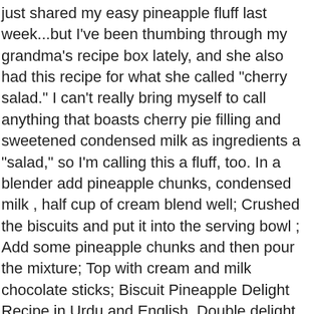just shared my easy pineapple fluff last week...but I've been thumbing through my grandma's recipe box lately, and she also had this recipe for what she called "cherry salad." I can't really bring myself to call anything that boasts cherry pie filling and sweetened condensed milk as ingredients a "salad," so I'm calling this a fluff, too. In a blender add pineapple chunks, condensed milk , half cup of cream blend well; Crushed the biscuits and put it into the serving bowl ; Add some pineapple chunks and then pour the mixture; Top with cream and milk chocolate sticks; Biscuit Pineapple Delight Recipe in Urdu and English. Double delight ... How to make Pineapple Ice cream with step by step photos. (Do not drain the crushed pineapple) Fold in the maraschino cherries, marshmallows, whipped topping and toasted macadamia nuts until fully combined. Layered Dessert As receitas lá de casa. Sprinkle with pecans and drizzle with ice cream topping. Then, stir in the condensed milk, egg yolks, and vanilla bean seeds (if you are making yours with vanilla extract, add it to the mixture when it is cooked and just about to be removed from the heat). Think of the song, "Summertime and the